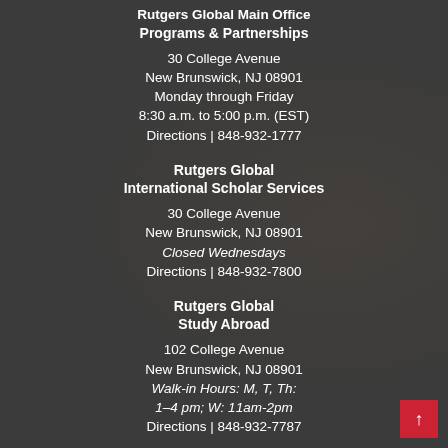Rutgers Global Main Office Programs & Partnerships
30 College Avenue
New Brunswick, NJ 08901
Monday through Friday
8:30 a.m. to 5:00 p.m. (EST)
Directions | 848-932-1777
Rutgers Global International Scholar Services
30 College Avenue
New Brunswick, NJ 08901
Closed Wednesdays
Directions | 848-932-7800
Rutgers Global Study Abroad
102 College Avenue
New Brunswick, NJ 08901
Walk-in Hours: M, T, Th:
1–4 pm; W: 11am-2pm
Directions | 848-932-7787